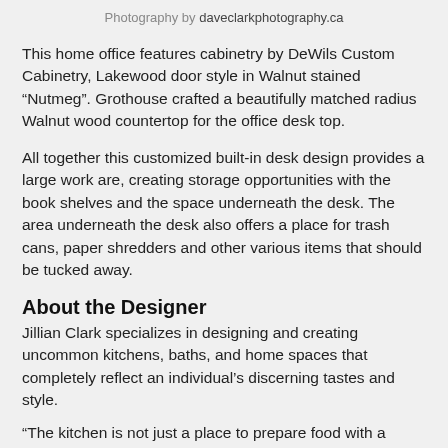Photography by daveclarkphotography.ca
This home office features cabinetry by DeWils Custom Cabinetry, Lakewood door style in Walnut stained “Nutmeg”. Grothouse crafted a beautifully matched radius Walnut wood countertop for the office desk top.
All together this customized built-in desk design provides a large work are, creating storage opportunities with the book shelves and the space underneath the desk. The area underneath the desk also offers a place for trash cans, paper shredders and other various items that should be tucked away.
About the Designer
Jillian Clark specializes in designing and creating uncommon kitchens, baths, and home spaces that completely reflect an individual’s discerning tastes and style.
“The kitchen is not just a place to prepare food with a family…